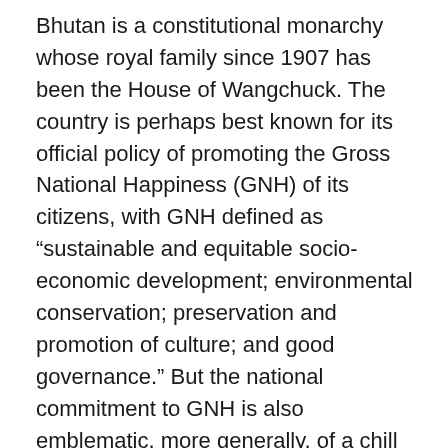Bhutan is a constitutional monarchy whose royal family since 1907 has been the House of Wangchuck. The country is perhaps best known for its official policy of promoting the Gross National Happiness (GNH) of its citizens, with GNH defined as “sustainable and equitable socio-economic development; environmental conservation; preservation and promotion of culture; and good governance.” But the national commitment to GNH is also emblematic, more generally, of a chill vibe that pervades Bhutan’s 14,824 square miles. So laid-back are the inhabitants — even when behind the wheel — that there’s not a single traffic light in the entire country. Even the capital city of Thimphu is devoid of traffic lights. In fact, Bhutan claims to be the only country in the world whose capital city boasts this distinction. The only traffic signal of any kind in Bhutan is a solitary kiosk in a roundabout in